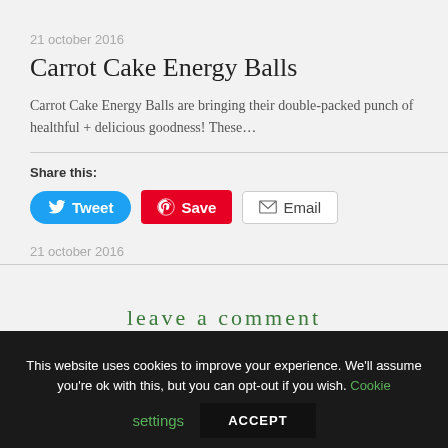21 october 2016
Carrot Cake Energy Balls
Carrot Cake Energy Balls are bringing their double-packed punch of healthful + delicious goodness! These…
Share this:
Tweet | Save | Email
21 october 2016
leave a comment
This website uses cookies to improve your experience. We'll assume you're ok with this, but you can opt-out if you wish. Cookie settings ACCEPT